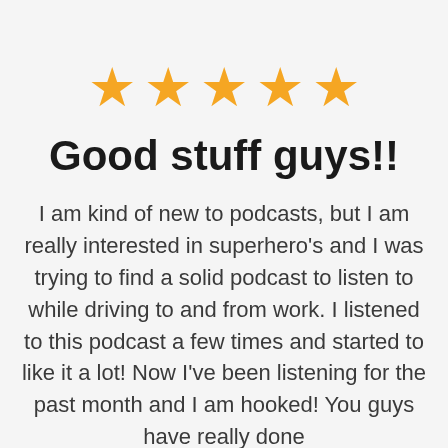[Figure (other): Five gold star rating icons arranged in a row]
Good stuff guys!!
I am kind of new to podcasts, but I am really interested in superhero's and I was trying to find a solid podcast to listen to while driving to and from work. I listened to this podcast a few times and started to like it a lot! Now I've been listening for the past month and I am hooked! You guys have really done